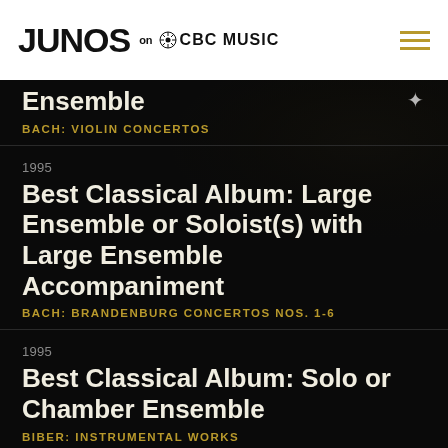JUNOS on CBC MUSIC
Ensemble
BACH: VIOLIN CONCERTOS
1995
Best Classical Album: Large Ensemble or Soloist(s) with Large Ensemble Accompaniment
BACH: BRANDENBURG CONCERTOS NOS. 1-6
1995
Best Classical Album: Solo or Chamber Ensemble
BIBER: INSTRUMENTAL WORKS